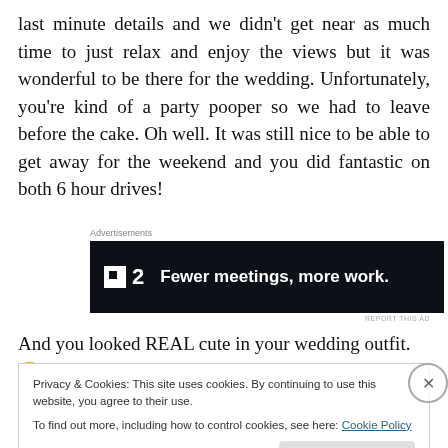last minute details and we didn't get near as much time to just relax and enjoy the views but it was wonderful to be there for the wedding. Unfortunately, you're kind of a party pooper so we had to leave before the cake. Oh well. It was still nice to be able to get away for the weekend and you did fantastic on both 6 hour drives!
[Figure (other): Advertisement banner for Plan 2 with dark background and tagline 'Fewer meetings, more work.']
And you looked REAL cute in your wedding outfit. 🙂
Privacy & Cookies: This site uses cookies. By continuing to use this website, you agree to their use.
To find out more, including how to control cookies, see here: Cookie Policy